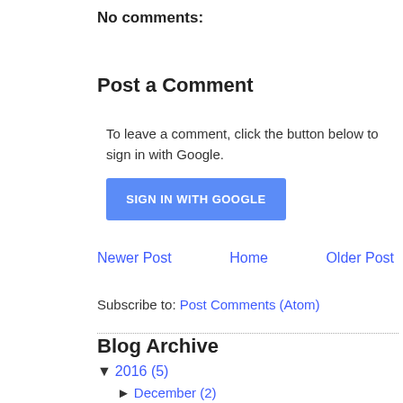No comments:
Post a Comment
To leave a comment, click the button below to sign in with Google.
SIGN IN WITH GOOGLE
Newer Post    Home    Older Post
Subscribe to: Post Comments (Atom)
Blog Archive
▼ 2016 (5)
► December (2)
▼ August (3)
iOS macOS tvOS watchOS notes